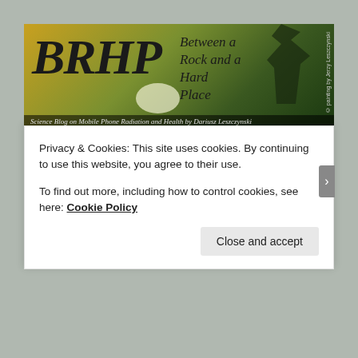[Figure (screenshot): BRHP website header banner with logo text 'BRHP' and tagline 'Between a Rock and a Hard Place', subtitle 'Science Blog on Mobile Phone Radiation and Health by Dariusz Leszczynski']
Home   GUEST BLOGS   LECTURES (PDFs)   new CV June 2021   REPORTS   VIDEOS
TAG ARCHIVES: ANDREW WOOD
Privacy & Cookies: This site uses cookies. By continuing to use this website, you agree to their use.
To find out more, including how to control cookies, see here: Cookie Policy
Close and accept